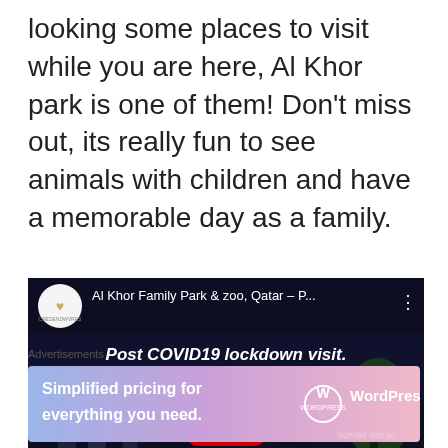looking some places to visit while you are here, Al Khor park is one of them! Don't miss out, its really fun to see animals with children and have a memorable day as a family.
[Figure (screenshot): YouTube video embed thumbnail showing 'Al Khor Family Park & zoo, Qatar – P...' with subtitle 'Post COVID19 lockdown visit.' A YouTube play button is centered over a dark image of a park gate.]
Advertisements
[Figure (screenshot): WordPress.com advertisement banner: 'Simplified pricing for everything you need.' with WordPress logo on a blue-pink gradient background.]